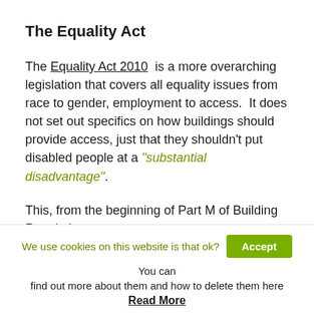The Equality Act
The Equality Act 2010 is a more overarching legislation that covers all equality issues from race to gender, employment to access. It does not set out specifics on how buildings should provide access, just that they shouldn't put disabled people at a “substantial disadvantage”.
This, from the beginning of Part M of Building Regulations:
“Although the guidance in this Approved Document, if
We use cookies on this website is that ok? Accept You can find out more about them and how to delete them here Read More